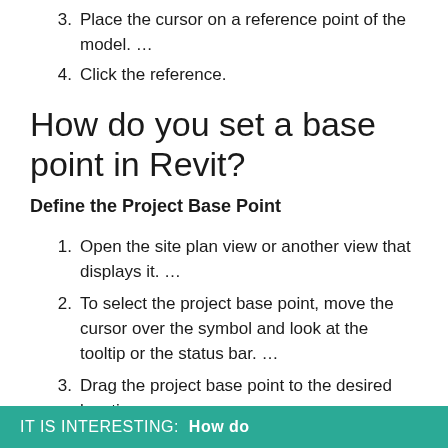3. Place the cursor on a reference point of the model. …
4. Click the reference.
How do you set a base point in Revit?
Define the Project Base Point
1. Open the site plan view or another view that displays it. …
2. To select the project base point, move the cursor over the symbol and look at the tooltip or the status bar. …
3. Drag the project base point to the desired location.
IT IS INTERESTING:  How do